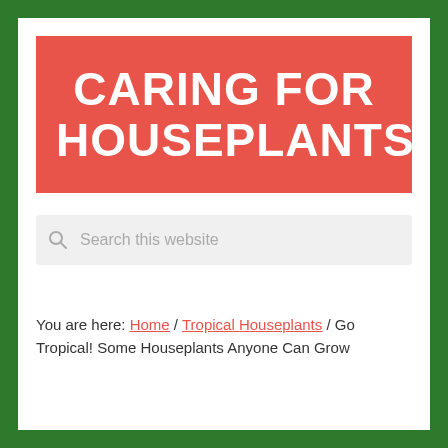CARING FOR HOUSEPLANTS
Search this website
You are here: Home / Tropical Houseplants / Go Tropical! Some Houseplants Anyone Can Grow